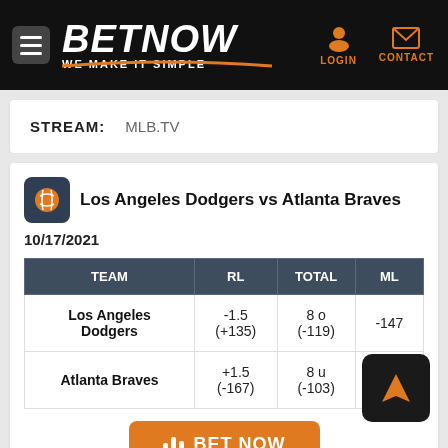BETNOW - WE MAKE IT SIMPLE
STREAM: MLB.TV
Los Angeles Dodgers vs Atlanta Braves 10/17/2021
| TEAM | RL | TOTAL | ML |
| --- | --- | --- | --- |
| Los Angeles Dodgers | -1.5
(+135) | 8 o
(-119) | -147 |
| Atlanta Braves | +1.5
(-167) | 8 u
(-103) | +110 |
BET NOW